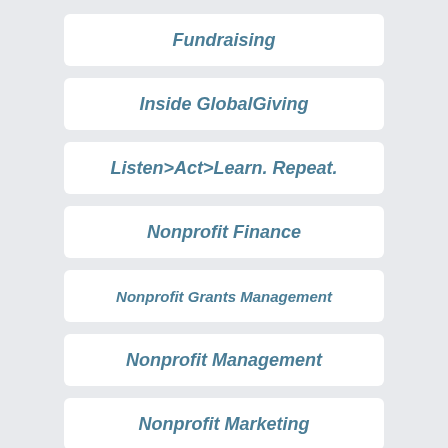Fundraising
Inside GlobalGiving
Listen>Act>Learn. Repeat.
Nonprofit Finance
Nonprofit Grants Management
Nonprofit Management
Nonprofit Marketing
Social Media...